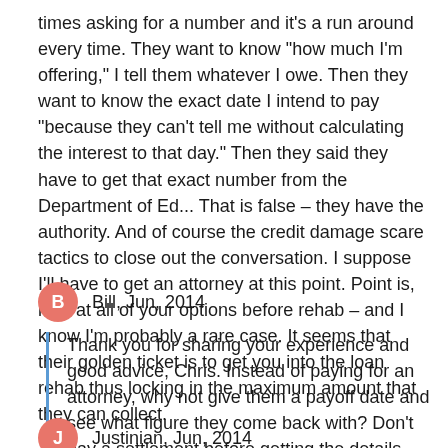times asking for a number and it's a run around every time. They want to know "how much I'm offering," I tell them whatever I owe. Then they want to know the exact date I intend to pay "because they can't tell me without calculating the interest to that day." Then they said they have to get that exact number from the Department of Ed... That is false – they have the authority. And of course the credit damage scare tactics to close out the conversation. I suppose I'll have to get an attorney at this point. Point is, look at all of your options before rehab – and I know I'm probably a rare case. It seems that their golden ticket is to get you into the loan rehab thus locking in the maximum amount that they can collect.
Bill, Jun, 2014
Thank you for sharing your experience and good advice, Chris. Instead of paying for an attorney, why not give them a payoff date and see what figure they come back with? Don't pay a settlement before getting the details spelled out in writing.
Justinian, Jun, 2014